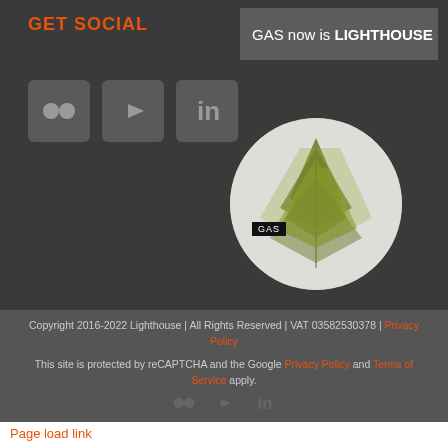GET SOCIAL
[Figure (logo): GAS now is LIGHTHOUSE banner in dark grey box]
[Figure (illustration): Three social media icon boxes: Flickr, YouTube, LinkedIn]
[Figure (logo): Circular logo with green plant illustration and GAS label overlay]
Copyright 2016-2022 Lighthouse | All Rights Reserved | VAT 03582530378 | Privacy Policy
This site is protected by reCAPTCHA and the Google Privacy Policy and Terms of Service apply.
Page load link